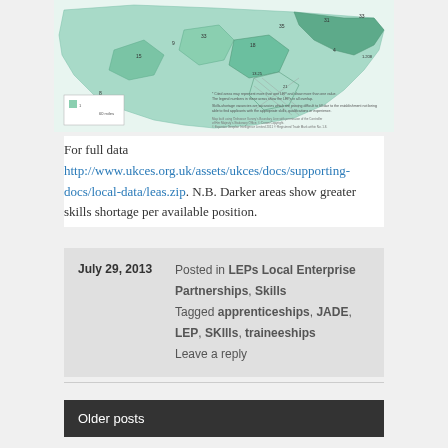[Figure (map): Map of England/South showing skills shortage vacancies by LEP area, with darker green areas indicating greater skills shortage per available position. Numbers are overlaid on each region.]
For full data http://www.ukces.org.uk/assets/ukces/docs/supporting-docs/local-data/leas.zip. N.B. Darker areas show greater skills shortage per available position.
July 29, 2013  Posted in LEPs Local Enterprise Partnerships, Skills  Tagged apprenticeships, JADE, LEP, SKIlls, traineeships  Leave a reply
Older posts